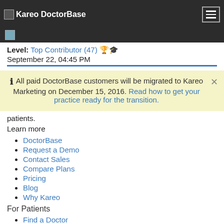Kareo DoctorBase
Level: Top Contributor (47)
September 22, 04:45 PM
All paid DoctorBase customers will be migrated to Kareo Marketing on December 15, 2016. Read how to get your practice ready for the transition.
patients.
Learn more
DoctorBase
Request a Demo
Contact Sales
Compare Plans
Pricing
Blog
Why Kareo
For Patients
Find a Doctor